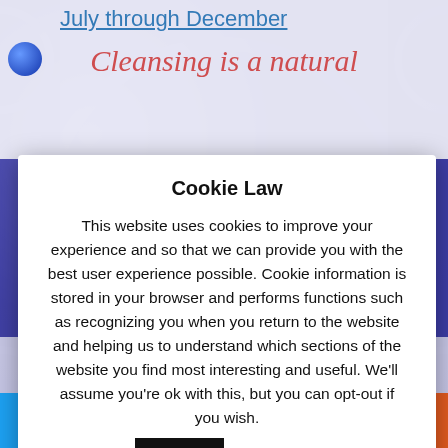July through December
Cleansing is a natural
Cookie Law
This website uses cookies to improve your experience and so that we can provide you with the best user experience possible. Cookie information is stored in your browser and performs functions such as recognizing you when you return to the website and helping us to understand which sections of the website you find most interesting and useful. We'll assume you're ok with this, but you can opt-out if you wish.
Accept
Read More
2019
[Figure (infographic): Social sharing bar with icons for Twitter, Facebook, Email, WhatsApp, SMS, and More (share)]